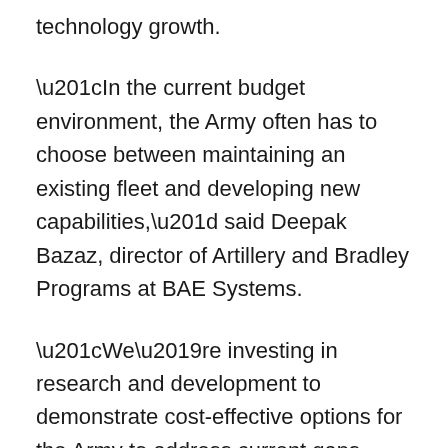technology growth.
“In the current budget environment, the Army often has to choose between maintaining an existing fleet and developing new capabilities,” said Deepak Bazaz, director of Artillery and Bradley Programs at BAE Systems.
“We’re investing in research and development to demonstrate cost-effective options for the Army to address current gaps. We’re focused on integrating current, emerging, and future technologies to significantly improve the Bradley’s mobility, force protection, and lethality.”